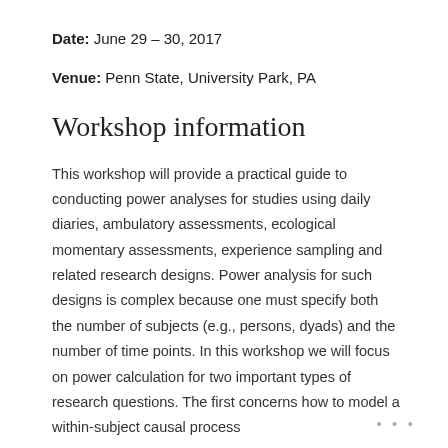Date: June 29 – 30, 2017
Venue: Penn State, University Park, PA
Workshop information
This workshop will provide a practical guide to conducting power analyses for studies using daily diaries, ambulatory assessments, ecological momentary assessments, experience sampling and related research designs. Power analysis for such designs is complex because one must specify both the number of subjects (e.g., persons, dyads) and the number of time points. In this workshop we will focus on power calculation for two important types of research questions. The first concerns how to model a within-subject causal process
• • •